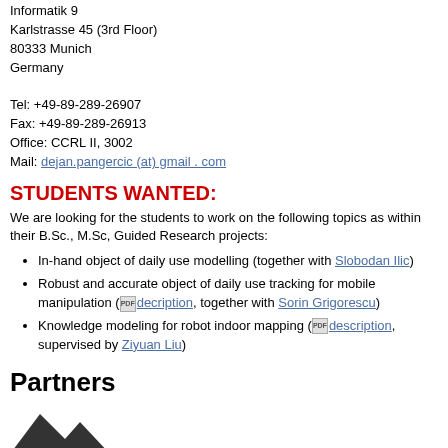Informatik 9
Karlstrasse 45 (3rd Floor)
80333 Munich
Germany

Tel: +49-89-289-26907
Fax: +49-89-289-26913
Office: CCRL II, 3002
Mail: dejan.pangercic (at) gmail . com
STUDENTS WANTED:
We are looking for the students to work on the following topics as within their B.Sc., M.Sc, Guided Research projects:
In-hand object of daily use modelling (together with Slobodan Ilic)
Robust and accurate object of daily use tracking for mobile manipulation (description, together with Sorin Grigorescu)
Knowledge modeling for robot indoor mapping (description, supervised by Ziyuan Liu)
Partners